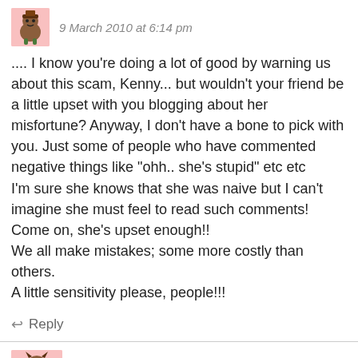9 March 2010 at 6:14 pm
.... I know you’re doing a lot of good by warning us about this scam, Kenny... but wouldn’t your friend be a little upset with you blogging about her misfortune? Anyway, I don’t have a bone to pick with you. Just some of people who have commented negative things like “ohh.. she’s stupid” etc etc
I’m sure she knows that she was naive but I can’t imagine she must feel to read such comments!
Come on, she’s upset enough!!
We all make mistakes; some more costly than others.
A little sensitivity please, people!!!
↩ Reply
Djurkwadd
9 March 2010 at 6:51 pm